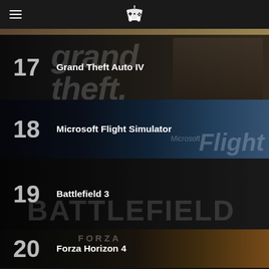Game rankings app header with hamburger menu and controller icon
17 Grand Theft Auto IV
18 Microsoft Flight Simulator
19 Battlefield 3
20 Forza Horizon 4